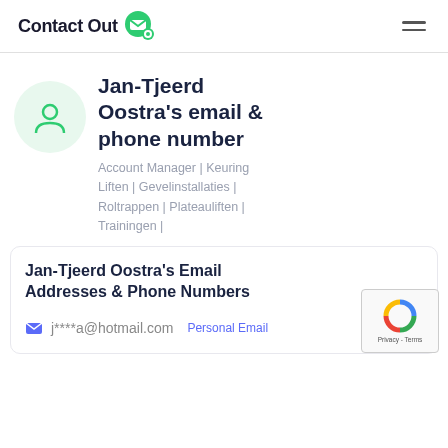ContactOut
Jan-Tjeerd Oostra's email & phone number
Account Manager | Keuring Liften | Gevelinstallaties | Roltrappen | Plateauliften | Trainingen |
Jan-Tjeerd Oostra's Email Addresses & Phone Numbers
j****a@hotmail.com Personal Email